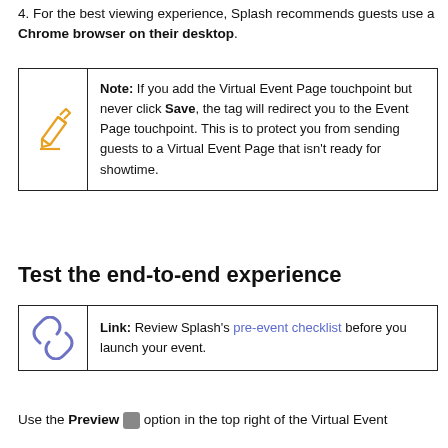4. For the best viewing experience, Splash recommends guests use a Chrome browser on their desktop.
| [pencil icon] | Note: If you add the Virtual Event Page touchpoint but never click Save, the tag will redirect you to the Event Page touchpoint. This is to protect you from sending guests to a Virtual Event Page that isn't ready for showtime. |
Test the end-to-end experience
| [link icon] | Link: Review Splash's pre-event checklist before you launch your event. |
Use the Preview option in the top right of the Virtual Event